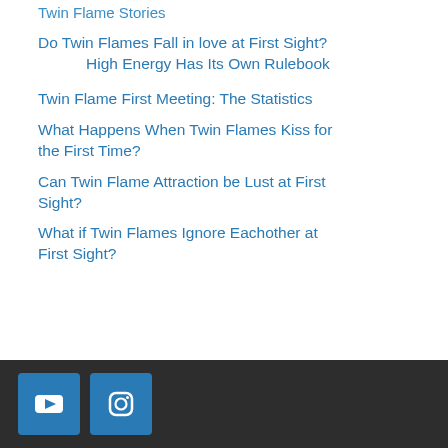Twin Flame Stories
Do Twin Flames Fall in love at First Sight? High Energy Has Its Own Rulebook
Twin Flame First Meeting: The Statistics
What Happens When Twin Flames Kiss for the First Time?
Can Twin Flame Attraction be Lust at First Sight?
What if Twin Flames Ignore Eachother at First Sight?
[Figure (other): Footer bar with YouTube and Instagram social media icon buttons on dark background]